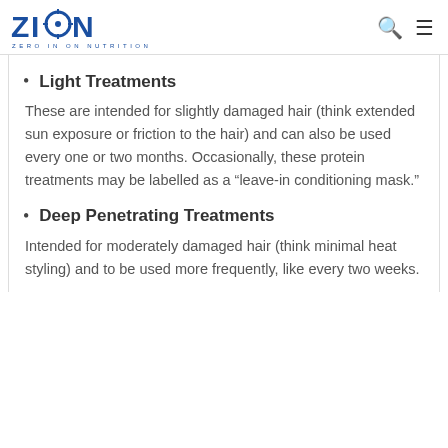ZION ZERO IN ON NUTRITION
Light Treatments
These are intended for slightly damaged hair (think extended sun exposure or friction to the hair) and can also be used every one or two months. Occasionally, these protein treatments may be labelled as a “leave-in conditioning mask.”
Deep Penetrating Treatments
Intended for moderately damaged hair (think minimal heat styling) and to be used more frequently, like every two weeks.